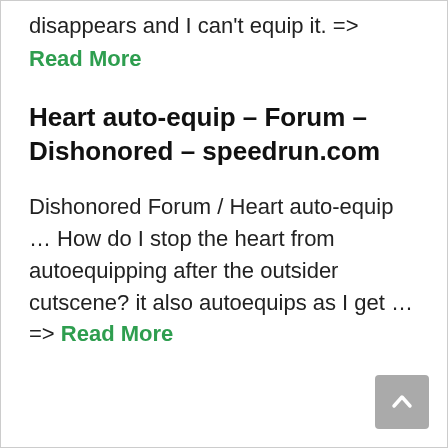disappears and I can't equip it. =>
Read More
Heart auto-equip – Forum – Dishonored – speedrun.com
Dishonored Forum / Heart auto-equip … How do I stop the heart from autoequipping after the outsider cutscene? it also autoequips as I get … => Read More